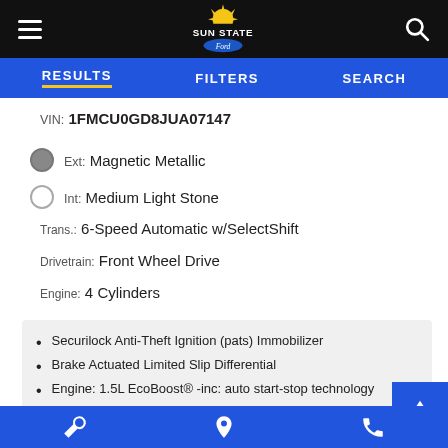Sun State Ford — hamburger menu, logo, search icon
RESULTS | FILTERS | SEARCH navigation tabs
VIN: 1FMCU0GD8JUA07147
Ext: Magnetic Metallic
Int: Medium Light Stone
Trans.: 6-Speed Automatic w/SelectShift
Drivetrain: Front Wheel Drive
Engine: 4 Cylinders
Securilock Anti-Theft Ignition (pats) Immobilizer
Brake Actuated Limited Slip Differential
Engine: 1.5L EcoBoost® -inc: auto start-stop technology
Bottom navigation bar with wrench, location pin, and phone icons